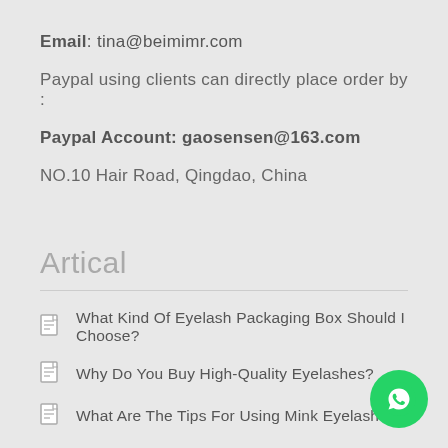Email: tina@beimimr.com
Paypal using clients can directly place order by :
Paypal Account: gaosensen@163.com
NO.10 Hair Road, Qingdao, China
Artical
What Kind Of Eyelash Packaging Box Should I Choose?
Why Do You Buy High-Quality Eyelashes?
What Are The Tips For Using Mink Eyelashes?